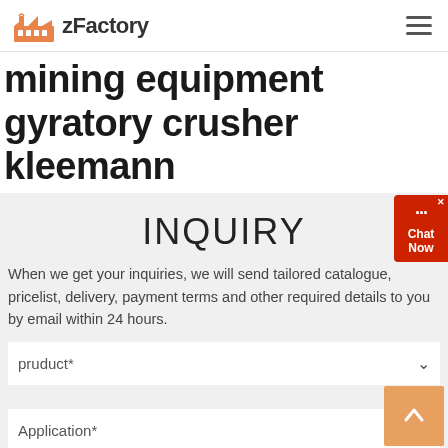zFactory
mining equipment gyratory crusher kleemann
INQUIRY
When we get your inquiries, we will send tailored catalogue, pricelist, delivery, payment terms and other required details to you by email within 24 hours.
pruduct*
Application*
Capacity*